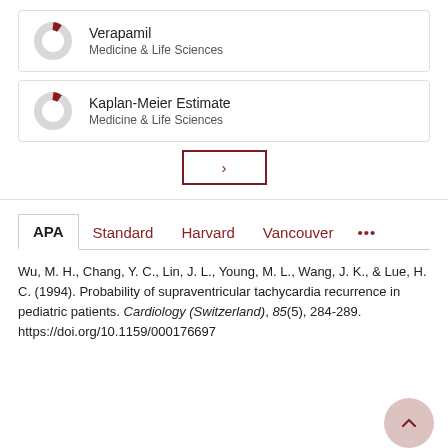[Figure (donut-chart): Small donut chart with a red slice, labeled 'Verapamil / Medicine & Life Sciences']
Verapamil
Medicine & Life Sciences
[Figure (donut-chart): Small donut chart with a red slice, labeled 'Kaplan-Meier Estimate / Medicine & Life Sciences']
Kaplan-Meier Estimate
Medicine & Life Sciences
>
APA   Standard   Harvard   Vancouver   ...
Wu, M. H., Chang, Y. C., Lin, J. L., Young, M. L., Wang, J. K., & Lue, H. C. (1994). Probability of supraventricular tachycardia recurrence in pediatric patients. Cardiology (Switzerland), 85(5), 284-289. https://doi.org/10.1159/000176697